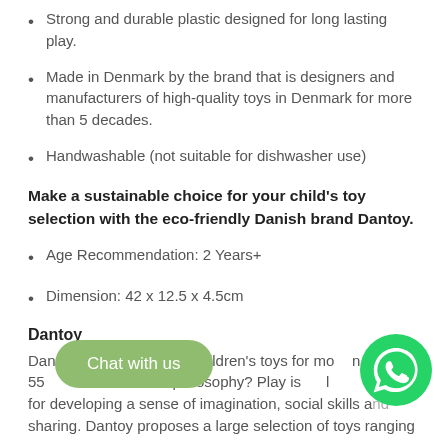Strong and durable plastic designed for long lasting play.
Made in Denmark by the brand that is designers and manufacturers of high-quality toys in Denmark for more than 5 decades.
Handwashable (not suitable for dishwasher use)
Make a sustainable choice for your child's toy selection with the eco-friendly Danish brand Dantoy.
Age Recommendation: 2 Years+
Dimension: 42 x 12.5 x 4.5cm
Dantoy
Dan pioneering children's toys for mo 55 brand's philosophy? Play is l for developing a sense of imagination, social skills and sharing. Dantoy proposes a large selection of toys ranging